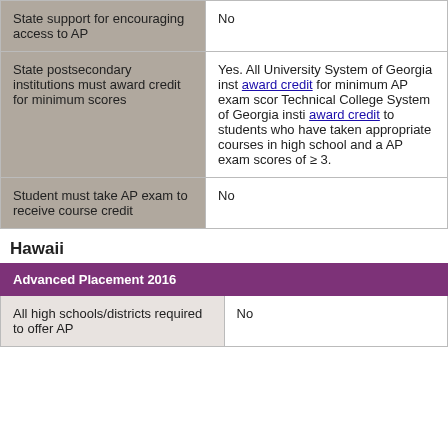|  |  |
| --- | --- |
| State support for encouraging access to AP | No |
| State postsecondary institutions must award credit for minimum scores | Yes. All University System of Georgia inst [award credit] for minimum AP exam scor Technical College System of Georgia insti [award credit] to students who have taken appropriate courses in high school and a AP exam scores of ≥ 3. |
| Student must take AP exam to receive course credit | No |
Hawaii
| Advanced Placement 2016 |  |
| --- | --- |
| All high schools/districts required to offer AP | No |